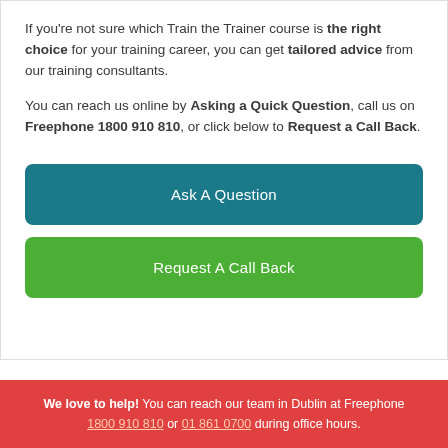If you're not sure which Train the Trainer course is the right choice for your training career, you can get tailored advice from our training consultants.
You can reach us online by Asking a Quick Question, call us on Freephone 1800 910 810, or click below to Request a Call Back.
Ask A Question
Request A Call Back
We love to help! You can reach our team in Dublin at Freephone 1800 910 810 or 01 861 0700 during office hours.